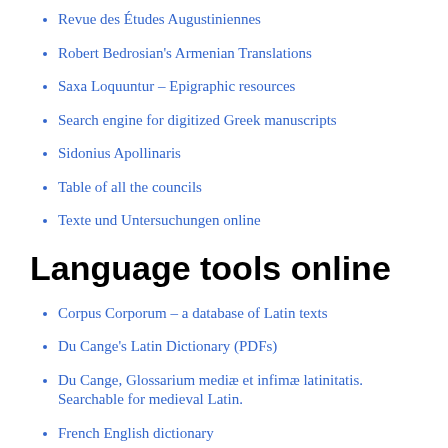Revue des Études Augustiniennes
Robert Bedrosian's Armenian Translations
Saxa Loquuntur – Epigraphic resources
Search engine for digitized Greek manuscripts
Sidonius Apollinaris
Table of all the councils
Texte und Untersuchungen online
Language tools online
Corpus Corporum – a database of Latin texts
Du Cange's Latin Dictionary (PDFs)
Du Cange, Glossarium mediæ et infimæ latinitatis. Searchable for medieval Latin.
French English dictionary
Gaffiot's Dictionaire Latin-Français (1934)